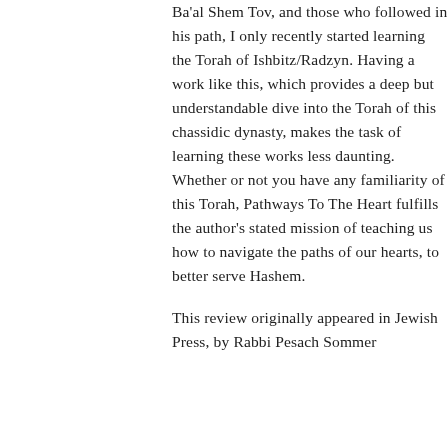Ba'al Shem Tov, and those who followed in his path, I only recently started learning the Torah of Ishbitz/Radzyn. Having a work like this, which provides a deep but understandable dive into the Torah of this chassidic dynasty, makes the task of learning these works less daunting. Whether or not you have any familiarity of this Torah, Pathways To The Heart fulfills the author's stated mission of teaching us how to navigate the paths of our hearts, to better serve Hashem.
This review originally appeared in Jewish Press, by Rabbi Pesach Sommer